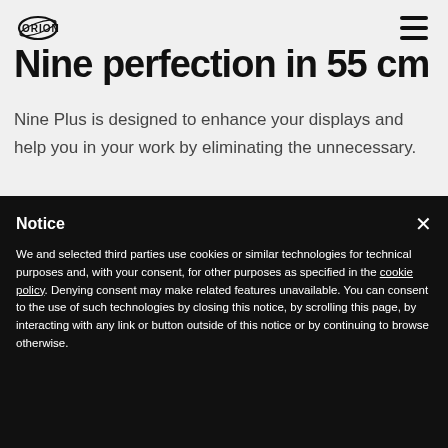ORION (logo) | hamburger menu
Nine perfection in 55 cm
Nine Plus is designed to enhance your displays and help you in your work by eliminating the unnecessary.
Notice
We and selected third parties use cookies or similar technologies for technical purposes and, with your consent, for other purposes as specified in the cookie policy. Denying consent may make related features unavailable. You can consent to the use of such technologies by closing this notice, by scrolling this page, by interacting with any link or button outside of this notice or by continuing to browse otherwise.